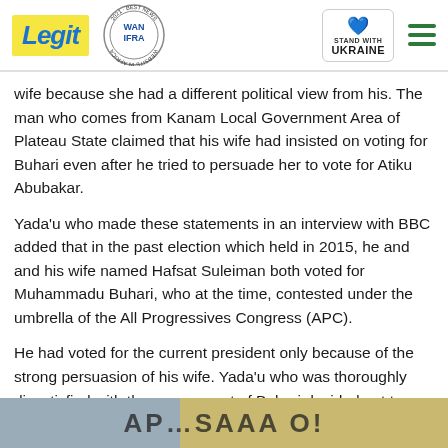Legit — WAN IFRA 2021 Best News Website in Africa — Stand with Ukraine
wife because she had a different political view from his. The man who comes from Kanam Local Government Area of Plateau State claimed that his wife had insisted on voting for Buhari even after he tried to persuade her to vote for Atiku Abubakar.
Yada'u who made these statements in an interview with BBC added that in the past election which held in 2015, he and and his wife named Hafsat Suleiman both voted for Muhammadu Buhari, who at the time, contested under the umbrella of the All Progressives Congress (APC).
He had voted for the current president only because of the strong persuasion of his wife. Yada'u who was thoroughly dissatisfied with the government of Buhari decided not to vote for him again as he sought for a re-election on the platform of the same party, APC.
[Figure (photo): Partial bottom image with text overlay, partially visible at bottom of page]